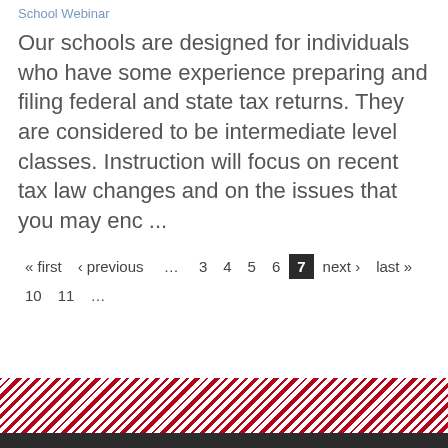School Webinar
Our schools are designed for individuals who have some experience preparing and filing federal and state tax returns. They are considered to be intermediate level classes. Instruction will focus on recent tax law changes and on the issues that you may enc ...
« first  ‹ previous  …  3  4  5  6  7  next ›  last »  10  11  …